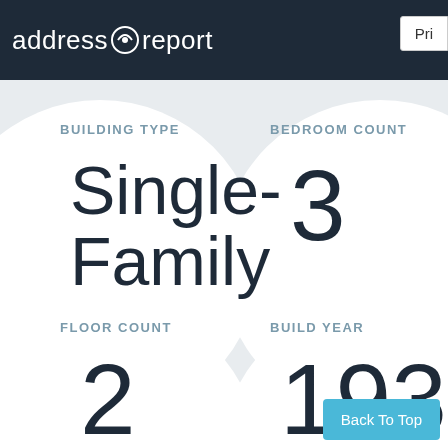address report  Pri...
BUILDING TYPE
Single-Family
BEDROOM COUNT
3
FLOOR COUNT
2
BUILD YEAR
1936
Back To Top